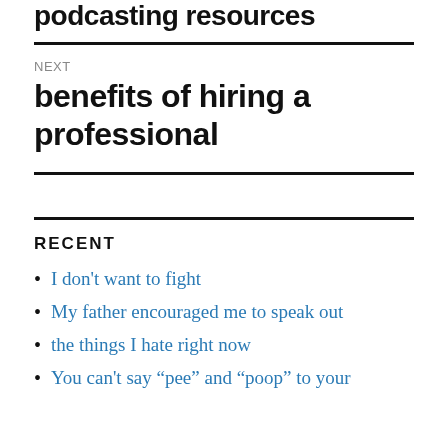podcasting resources
NEXT
benefits of hiring a professional
RECENT
I don’t want to fight
My father encouraged me to speak out
the things I hate right now
You can’t say “pee” and “poop” to your